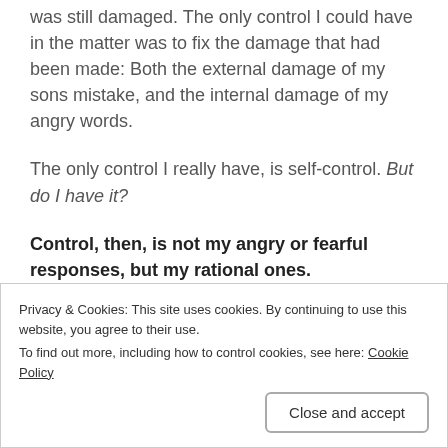was still damaged. The only control I could have in the matter was to fix the damage that had been made: Both the external damage of my sons mistake, and the internal damage of my angry words.
The only control I really have, is self-control. But do I have it?
Control, then, is not my angry or fearful responses, but my rational ones.
In order to find peace with this crazy world, I have to choose to accept that things I can not change, change the
Privacy & Cookies: This site uses cookies. By continuing to use this website, you agree to their use.
To find out more, including how to control cookies, see here: Cookie Policy
Close and accept